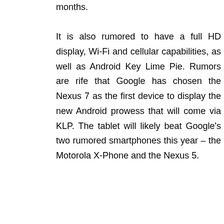months. It is also rumored to have a full HD display, Wi-Fi and cellular capabilities, as well as Android Key Lime Pie. Rumors are rife that Google has chosen the Nexus 7 as the first device to display the new Android prowess that will come via KLP. The tablet will likely beat Google's two rumored smartphones this year – the Motorola X-Phone and the Nexus 5.